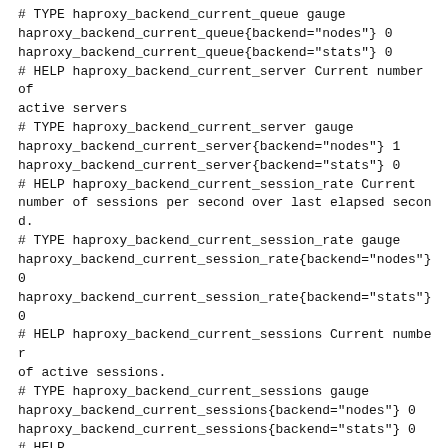# TYPE haproxy_backend_current_queue gauge
haproxy_backend_current_queue{backend="nodes"} 0
haproxy_backend_current_queue{backend="stats"} 0
# HELP haproxy_backend_current_server Current number of active servers
# TYPE haproxy_backend_current_server gauge
haproxy_backend_current_server{backend="nodes"} 1
haproxy_backend_current_server{backend="stats"} 0
# HELP haproxy_backend_current_session_rate Current number of sessions per second over last elapsed second.
# TYPE haproxy_backend_current_session_rate gauge
haproxy_backend_current_session_rate{backend="nodes"} 0
haproxy_backend_current_session_rate{backend="stats"} 0
# HELP haproxy_backend_current_sessions Current number of active sessions.
# TYPE haproxy_backend_current_sessions gauge
haproxy_backend_current_sessions{backend="nodes"} 0
haproxy_backend_current_sessions{backend="stats"} 0
# HELP haproxy_backend_http_connect_time_average_seconds Avg. HTTP connect time for last 1024 successful connections.
# TYPE haproxy_backend_http_connect_time_average_seconds gauge
haproxy_backend_http_connect_time_average_seconds{backend="nodes"} 0
haproxy_backend_http_connect_time_average_seconds{backend="stats"} 0
# HELP haproxy_backend_http_queue_time_average_seconds Avg. HTTP queue time for last 1024 successful connections.